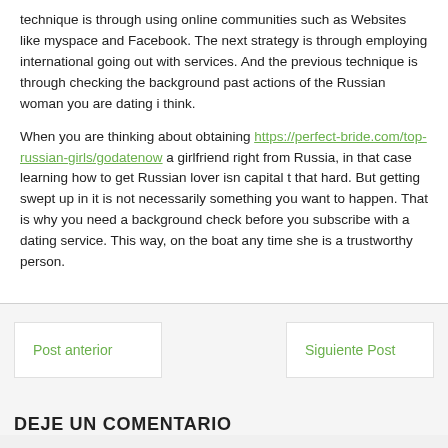technique is through using online communities such as Websites like myspace and Facebook. The next strategy is through employing international going out with services. And the previous technique is through checking the background past actions of the Russian woman you are dating i think.
When you are thinking about obtaining https://perfect-bride.com/top-russian-girls/godatenow a girlfriend right from Russia, in that case learning how to get Russian lover isn capital t that hard. But getting swept up in it is not necessarily something you want to happen. That is why you need a background check before you subscribe with a dating service. This way, on the boat any time she is a trustworthy person.
Post anterior
Siguiente Post
DEJE UN COMENTARIO